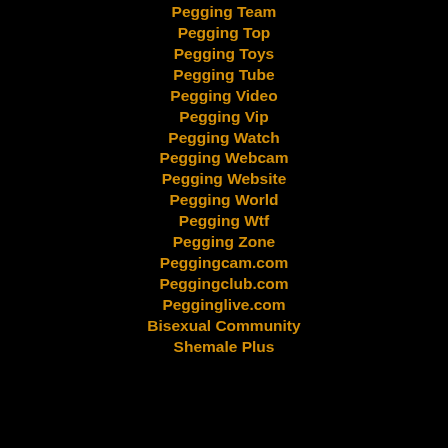Pegging Team
Pegging Top
Pegging Toys
Pegging Tube
Pegging Video
Pegging Vip
Pegging Watch
Pegging Webcam
Pegging Website
Pegging World
Pegging Wtf
Pegging Zone
Peggingcam.com
Peggingclub.com
Pegginglive.com
Bisexual Community
Shemale Plus